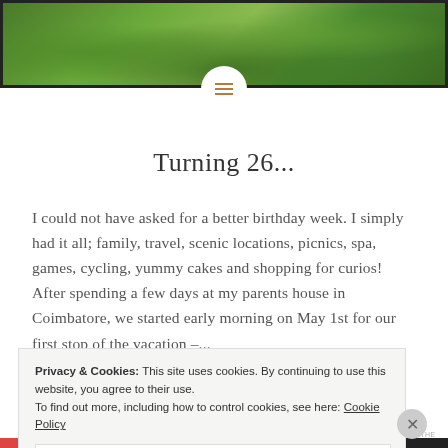[Figure (photo): A lush green garden or tea plantation with dense foliage, viewed from close range. The image spans the full width at the top of the page.]
Turning 26...
I could not have asked for a better birthday week. I simply had it all; family, travel, scenic locations, picnics, spa, games, cycling, yummy cakes and shopping for curios! After spending a few days at my parents house in Coimbatore, we started early morning on May 1st for our first stop of the vacation –...
Privacy & Cookies: This site uses cookies. By continuing to use this website, you agree to their use. To find out more, including how to control cookies, see here: Cookie Policy
Close and accept